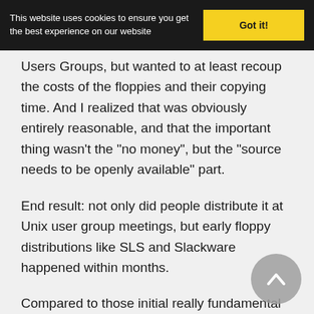This website uses cookies to ensure you get the best experience on our website  Got it!
Users Groups, but wanted to at least recoup the costs of the floppies and their copying time. And I realized that was obviously entirely reasonable, and that the important thing wasn't the "no money", but the "source needs to be openly available" part.
End result: not only did people distribute it at Unix user group meetings, but early floppy distributions like SLS and Slackware happened within months.
Compared to those initial really fundamental changes, everything else was "incremental". Sure,